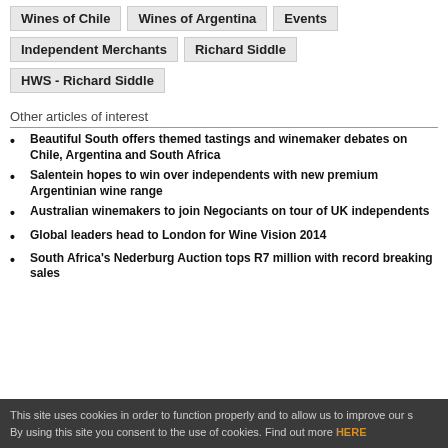Wines of Chile
Wines of Argentina
Events
Independent Merchants
Richard Siddle
HWS - Richard Siddle
Other articles of interest
Beautiful South offers themed tastings and winemaker debates on Chile, Argentina and South Africa
Salentein hopes to win over independents with new premium Argentinian wine range
Australian winemakers to join Negociants on tour of UK independents
Global leaders head to London for Wine Vision 2014
South Africa's Nederburg Auction tops R7 million with record breaking sales
This site uses cookies in order to function properly and to allow us to improve our s By using this site you consent to the use of cookies. Find out more HERE